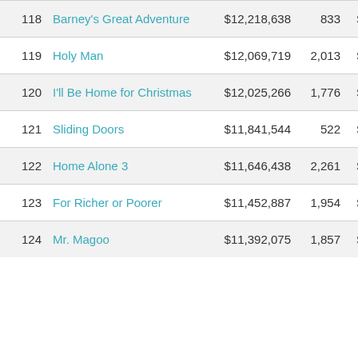| # | Title | Gross | Theaters | Opening |
| --- | --- | --- | --- | --- |
| 118 | Barney's Great Adventure | $12,218,638 | 833 | $12,2… |
| 119 | Holy Man | $12,069,719 | 2,013 | $12,0… |
| 120 | I'll Be Home for Christmas | $12,025,266 | 1,776 | $12,2… |
| 121 | Sliding Doors | $11,841,544 | 522 | $11,8… |
| 122 | Home Alone 3 | $11,646,438 | 2,261 | $30,8… |
| 123 | For Richer or Poorer | $11,452,887 | 1,954 | $31,6… |
| 124 | Mr. Magoo | $11,392,075 | 1,857 | $21,4… |